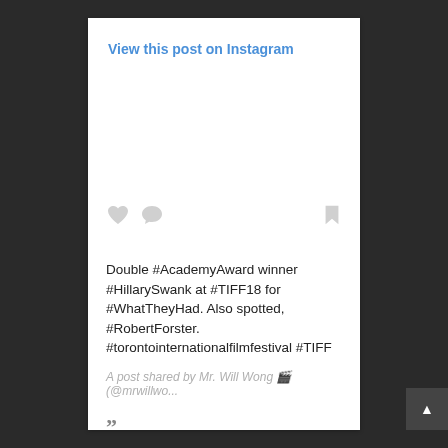View this post on Instagram
[Figure (screenshot): Instagram post UI showing heart icon, comment bubble icon, and bookmark icon]
Double #AcademyAward winner #HillarySwank at #TIFF18 for #WhatTheyHad. Also spotted, #RobertForster. #torontointernationalfilmfestival #TIFF
A post shared by Mr. Will Wong 🎬 (@mrwillwo...
""